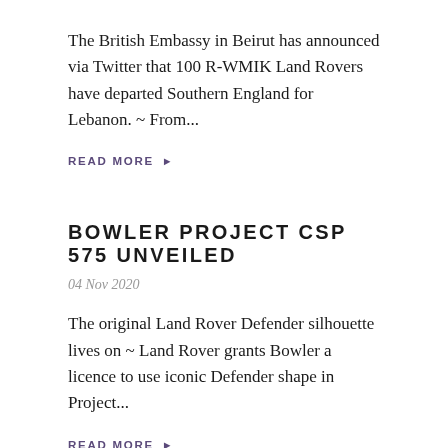The British Embassy in Beirut has announced via Twitter that 100 R-WMIK Land Rovers have departed Southern England for Lebanon. ~ From...
READ MORE ▶
BOWLER PROJECT CSP 575 UNVEILED
04 Nov 2020
The original Land Rover Defender silhouette lives on ~ Land Rover grants Bowler a licence to use iconic Defender shape in Project...
READ MORE ▶